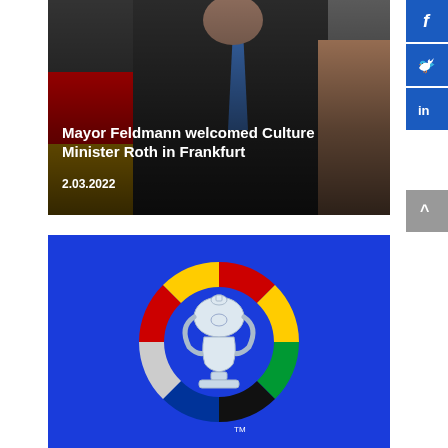[Figure (photo): Photo of Mayor Feldmann with Culture Minister Roth, people in suits with German flag visible, overlaid with white text title and date]
Mayor Feldmann welcomed Culture Minister Roth in Frankfurt
2.03.2022
[Figure (logo): UEFA Euro 2024 tournament logo - a silver trophy cup surrounded by colorful segments (red, yellow, black, green, blue, white) in a circular arrangement on a blue background, with TM mark]